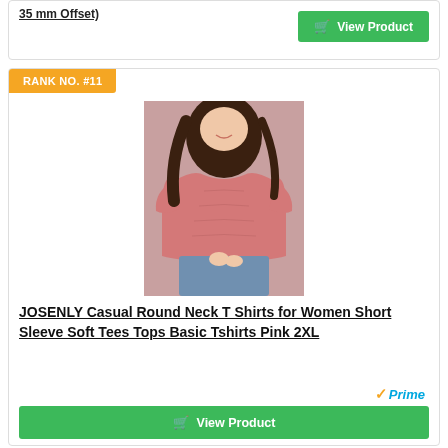35 mm Offset)
View Product
RANK NO. #11
[Figure (photo): Woman wearing a pink casual round neck short sleeve t-shirt with jeans, smiling]
JOSENLY Casual Round Neck T Shirts for Women Short Sleeve Soft Tees Tops Basic Tshirts Pink 2XL
[Figure (logo): Amazon Prime logo with orange checkmark and blue italic Prime text]
View Product